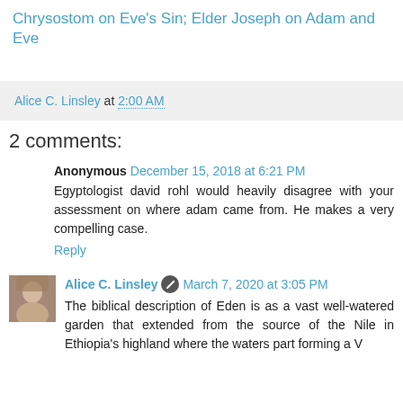Chrysostom on Eve's Sin; Elder Joseph on Adam and Eve
Alice C. Linsley at 2:00 AM
2 comments:
Anonymous December 15, 2018 at 6:21 PM
Egyptologist david rohl would heavily disagree with your assessment on where adam came from. He makes a very compelling case.
Reply
Alice C. Linsley March 7, 2020 at 3:05 PM
The biblical description of Eden is as a vast well-watered garden that extended from the source of the Nile in Ethiopia's highland where the waters part forming a V